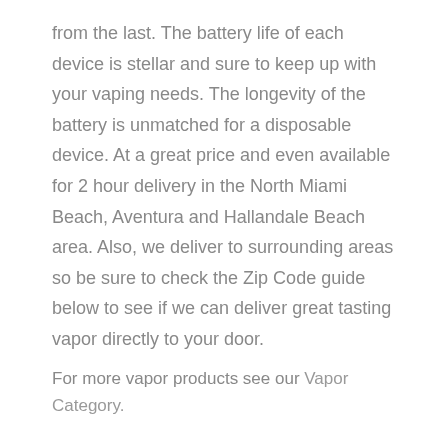from the last. The battery life of each device is stellar and sure to keep up with your vaping needs. The longevity of the battery is unmatched for a disposable device. At a great price and even available for 2 hour delivery in the North Miami Beach, Aventura and Hallandale Beach area. Also, we deliver to surrounding areas so be sure to check the Zip Code guide below to see if we can deliver great tasting vapor directly to your door.
For more vapor products see our Vapor Category.
Fume Ultra – Illegal Sales to Minors
FUME is committed to ensuring it will only be serving minor...